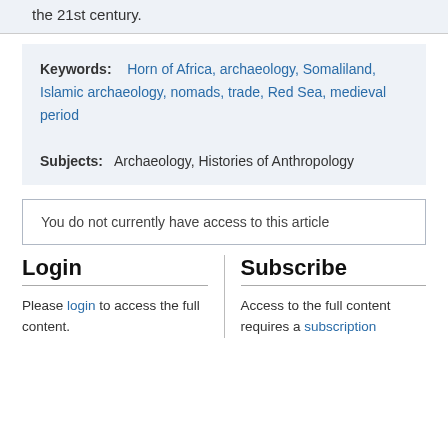the 21st century.
Keywords: Horn of Africa, archaeology, Somaliland, Islamic archaeology, nomads, trade, Red Sea, medieval period
Subjects: Archaeology, Histories of Anthropology
You do not currently have access to this article
Login
Subscribe
Please login to access the full content.
Access to the full content requires a subscription